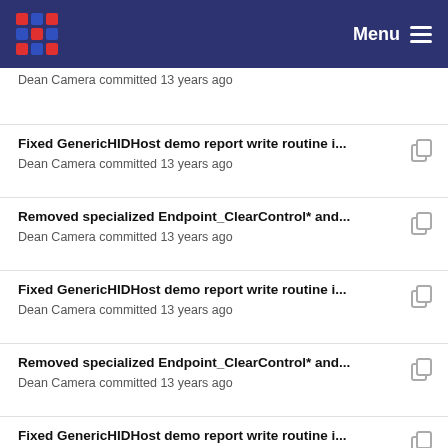Menu
Dean Camera committed 13 years ago
Fixed GenericHIDHost demo report write routine i...
Dean Camera committed 13 years ago
Removed specialized Endpoint_ClearControl* and...
Dean Camera committed 13 years ago
Fixed GenericHIDHost demo report write routine i...
Dean Camera committed 13 years ago
Removed specialized Endpoint_ClearControl* and...
Dean Camera committed 13 years ago
Fixed GenericHIDHost demo report write routine i...
Dean Camera committed 13 years ago
Changed PIPE_CONTROLPIPE_DEFAULT_SIZE fr...
Dean Camera committed 13 years ago
Fixed GenericHIDHost demo report write routine i...